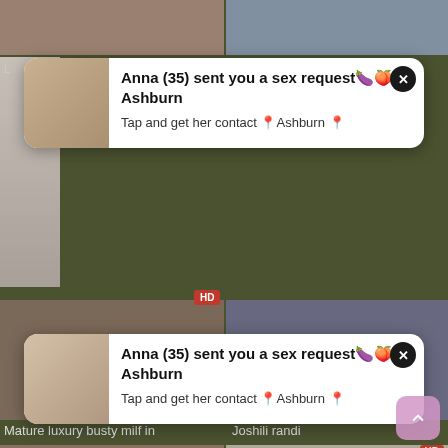[Figure (screenshot): Adult video website screenshot with notification popups showing 'Anna (35) sent you a sex request' overlaid on video thumbnails]
Anna (35) sent you a sex request🍆🍑 Ashburn
Tap and get her contact 📍Ashburn 📍
Anna (35) sent you a sex request🍆🍑 Ashburn
Tap and get her contact 📍Ashburn 📍
Mature luxury busty milf in
Joshili randi